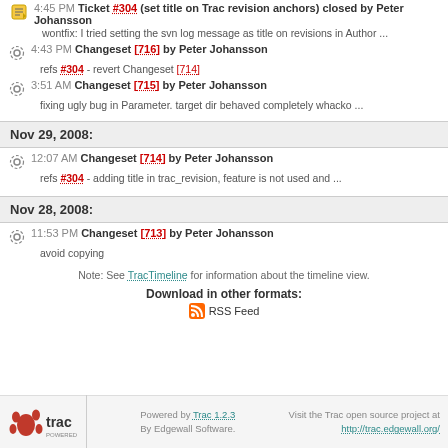4:45 PM Ticket #304 (set title on Trac revision anchors) closed by Peter Johansson — wontfix: I tried setting the svn log message as title on revisions in Author ...
4:43 PM Changeset [716] by Peter Johansson — refs #304 - revert Changeset [714]
3:51 AM Changeset [715] by Peter Johansson — fixing ugly bug in Parameter. target dir behaved completely whacko ...
Nov 29, 2008:
12:07 AM Changeset [714] by Peter Johansson — refs #304 - adding title in trac_revision, feature is not used and ...
Nov 28, 2008:
11:53 PM Changeset [713] by Peter Johansson — avoid copying
Note: See TracTimeline for information about the timeline view.
Download in other formats:
RSS Feed
Powered by Trac 1.2.3 By Edgewall Software. Visit the Trac open source project at http://trac.edgewall.org/